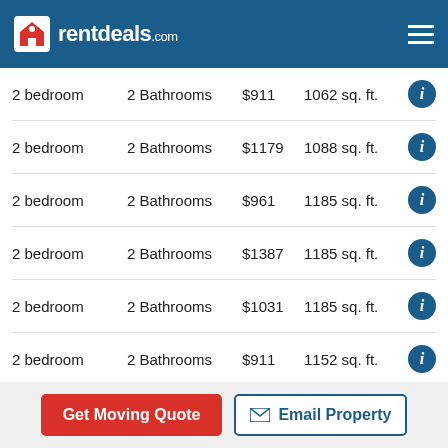rentdeals.com
| Bedrooms | Bathrooms | Price | Size | Info |
| --- | --- | --- | --- | --- |
| 2 bedroom | 2 Bathrooms | $911 | 1062 sq. ft. | i |
| 2 bedroom | 2 Bathrooms | $1179 | 1088 sq. ft. | i |
| 2 bedroom | 2 Bathrooms | $961 | 1185 sq. ft. | i |
| 2 bedroom | 2 Bathrooms | $1387 | 1185 sq. ft. | i |
| 2 bedroom | 2 Bathrooms | $1031 | 1185 sq. ft. | i |
| 2 bedroom | 2 Bathrooms | $911 | 1152 sq. ft. | i |
| 2 bedroom | 2 Bathrooms | $1199 | 1088 sq. ft. | i |
Get Moving Quote | Email Property